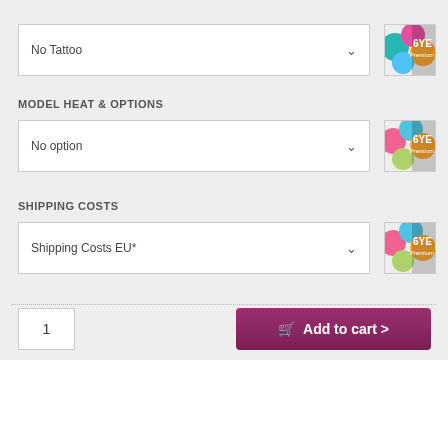No Tattoo
MODEL HEAT & OPTIONS
No option
SHIPPING COSTS
Shipping Costs EU*
1
Add to cart >